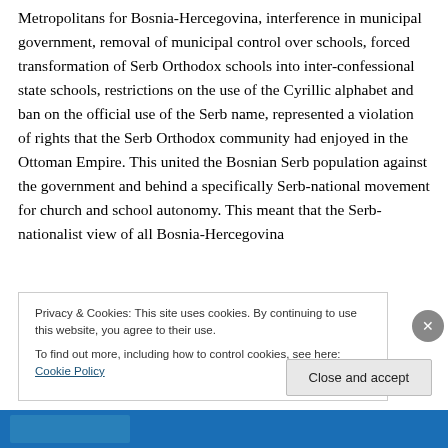Metropolitans for Bosnia-Hercegovina, interference in municipal government, removal of municipal control over schools, forced transformation of Serb Orthodox schools into inter-confessional state schools, restrictions on the use of the Cyrillic alphabet and ban on the official use of the Serb name, represented a violation of rights that the Serb Orthodox community had enjoyed in the Ottoman Empire. This united the Bosnian Serb population against the government and behind a specifically Serb-national movement for church and school autonomy. This meant that the Serb-nationalist view of all Bosnia-Hercegovina
Privacy & Cookies: This site uses cookies. By continuing to use this website, you agree to their use.
To find out more, including how to control cookies, see here: Cookie Policy
Close and accept